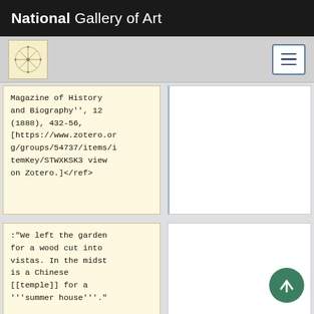National Gallery of Art
Magazine of History and Biography'', 12 (1888), 432-56, [https://www.zotero.org/groups/54737/items/itemKey/STWXKSK3 view on Zotero.]</ref>
:"We left the garden for a wood cut into vistas. In the midst is a Chinese [[temple]] for a '''summer house'''."